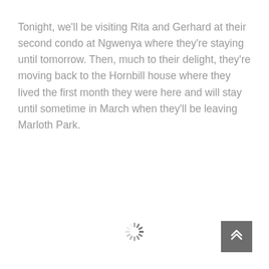Tonight, we'll be visiting Rita and Gerhard at their second condo at Ngwenya where they're staying until tomorrow. Then, much to their delight, they're moving back to the Hornbill house where they lived the first month they were here and will stay until sometime in March when they'll be leaving Marloth Park.
[Figure (other): Loading spinner icon (circular dashed spinner animation indicator)]
[Figure (other): Back to top button — dark grey square with upward chevron arrows]